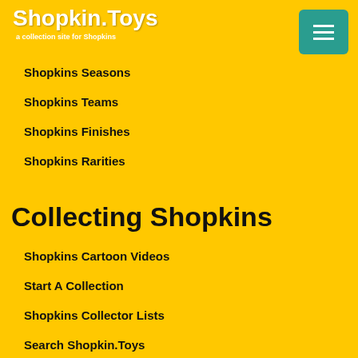Shopkin.Toys
a collection site for Shopkins
Shopkins Seasons
Shopkins Teams
Shopkins Finishes
Shopkins Rarities
Collecting Shopkins
Shopkins Cartoon Videos
Start A Collection
Shopkins Collector Lists
Search Shopkin.Toys